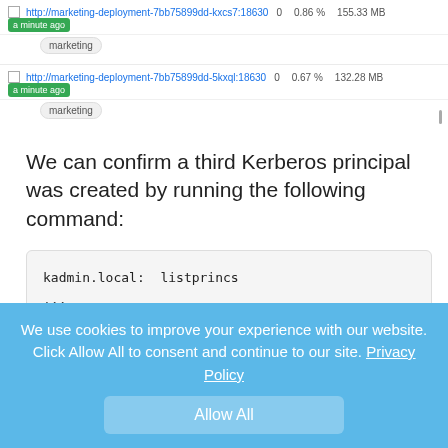[Figure (screenshot): Web UI showing two rows of deployment links with checkboxes, CPU percentage, memory (MB), and a green 'a minute ago' badge. Each row has a 'marketing' tag below.]
We can confirm a third Kerberos principal was created by running the following command:
kadmin.local:  listprincs
...
marketing/10.60.0.15@ONEFOURSIX
marketing/10.60.1.25@ONEFOURSIX
marketing/10.60.1.26@ONEFOURSIX
We use cookies to improve your experience with our website. Click Allow All to consent and continue to our site. Privacy Policy
Allow All